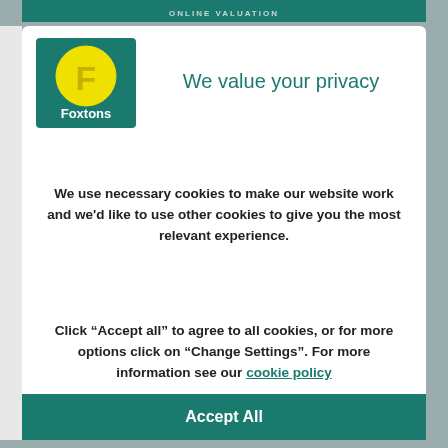ONLINE VALUATION
[Figure (logo): Foxtons logo: teal square background with yellow circle containing letter F in yellow, and white text 'Foxtons' below]
We value your privacy
We use necessary cookies to make our website work and we'd like to use other cookies to give you the most relevant experience.
Click “Accept all” to agree to all cookies, or for more options click on “Change Settings”. For more information see our cookie policy
Accept All